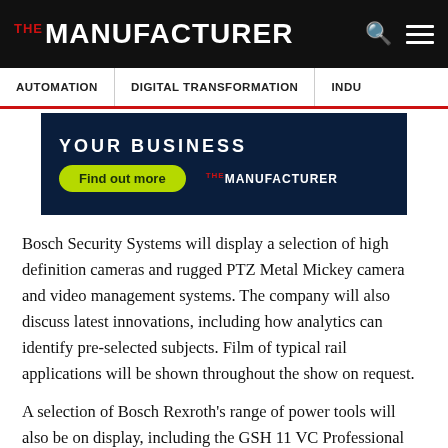THE MANUFACTURER
AUTOMATION | DIGITAL TRANSFORMATION | INDU…
[Figure (other): The Manufacturer promotional banner with green 'Find out more' button and dark navy background showing 'YOUR BUSINESS' text]
Bosch Security Systems will display a selection of high definition cameras and rugged PTZ Metal Mickey camera and video management systems.  The company will also discuss latest innovations, including how analytics can identify pre-selected subjects. Film of typical rail applications will be shown throughout the show on request.
A selection of Bosch Rexroth's range of power tools will also be on display, including the GSH 11 VC Professional